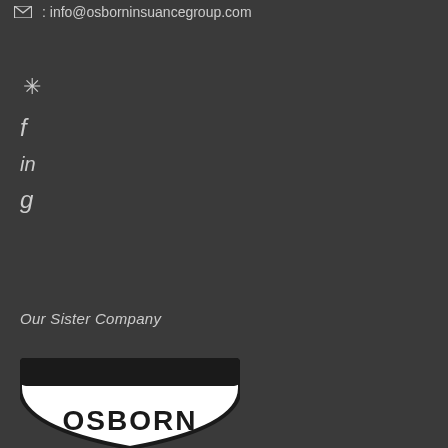info@osborninsuancegroup.com
[Figure (illustration): Social media icons: Yelp, Facebook, LinkedIn, Google]
Our Sister Company
[Figure (logo): Osborn logo - partial view showing shield shape with OSBORN text]